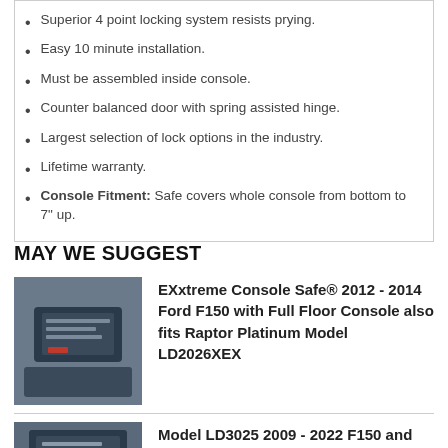Superior 4 point locking system resists prying.
Easy 10 minute installation.
Must be assembled inside console.
Counter balanced door with spring assisted hinge.
Largest selection of lock options in the industry.
Lifetime warranty.
Console Fitment: Safe covers whole console from bottom to 7" up.
MAY WE SUGGEST
[Figure (photo): EXxtreme Console Safe installed in Ford F150, showing black metal safe unit in vehicle console]
EXxtreme Console Safe® 2012 - 2014 Ford F150 with Full Floor Console also fits Raptor Platinum Model LD2026XEX
[Figure (photo): Console safe product photo for Model LD3025]
Model LD3025 2009 - 2022 F150 and 2017 - 2022 Super Duty F250